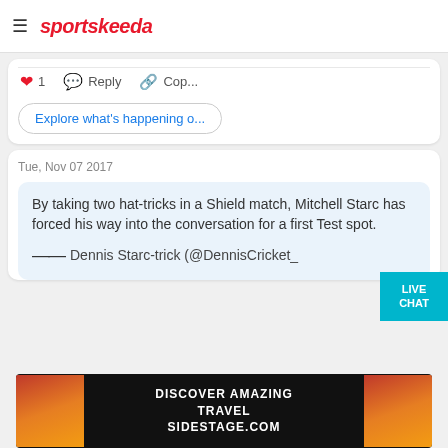sportskeeda
1  Reply  Cop...
Explore what's happening o...
Tue, Nov 07 2017
By taking two hat-tricks in a Shield match, Mitchell Starc has forced his way into the conversation for a first Test spot.
— Dennis Starc-trick (@DennisCricket_
[Figure (screenshot): Advertisement banner: DISCOVER AMAZING TRAVEL SIDESTAGE.COM with sunset/travel images on sides]